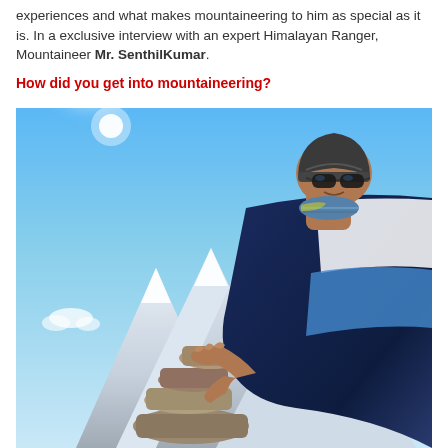experiences and what makes mountaineering to him as special as it is. In a exclusive interview with an expert Himalayan Ranger, Mountaineer Mr. SenthilKumar.
How did you get into mountaineering?
[Figure (photo): A mountaineer wearing a black jacket, beanie hat, and sunglasses, leaning forward stacking rocks at a high-altitude mountain summit with a bright blue sky and snow-capped mountain peaks visible in the background.]